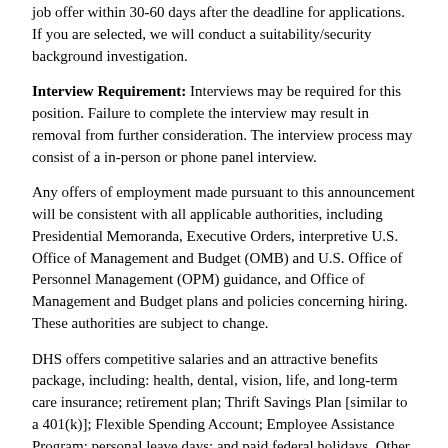job offer within 30-60 days after the deadline for applications. If you are selected, we will conduct a suitability/security background investigation.
Interview Requirement: Interviews may be required for this position. Failure to complete the interview may result in removal from further consideration. The interview process may consist of a in-person or phone panel interview.
Any offers of employment made pursuant to this announcement will be consistent with all applicable authorities, including Presidential Memoranda, Executive Orders, interpretive U.S. Office of Management and Budget (OMB) and U.S. Office of Personnel Management (OPM) guidance, and Office of Management and Budget plans and policies concerning hiring. These authorities are subject to change.
DHS offers competitive salaries and an attractive benefits package, including: health, dental, vision, life, and long-term care insurance; retirement plan; Thrift Savings Plan [similar to a 401(k)]; Flexible Spending Account; Employee Assistance Program; personal leave days; and paid federal holidays. Other benefits may include: flexible work schedules; telework; tuition reimbursement; transportation subsidies; uniform allowance; health and wellness programs; and fitness centers. DHS is committed to employee development and offers a variety of employee training and developmental opportunities. For more information, go to the DHS Careers website and select "Employee Benefits."